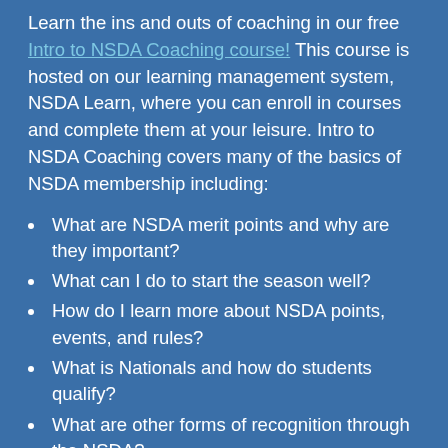Learn the ins and outs of coaching in our free Intro to NSDA Coaching course! This course is hosted on our learning management system, NSDA Learn, where you can enroll in courses and complete them at your leisure. Intro to NSDA Coaching covers many of the basics of NSDA membership including:
What are NSDA merit points and why are they important?
What can I do to start the season well?
How do I learn more about NSDA points, events, and rules?
What is Nationals and how do students qualify?
What are other forms of recognition through the NSDA?